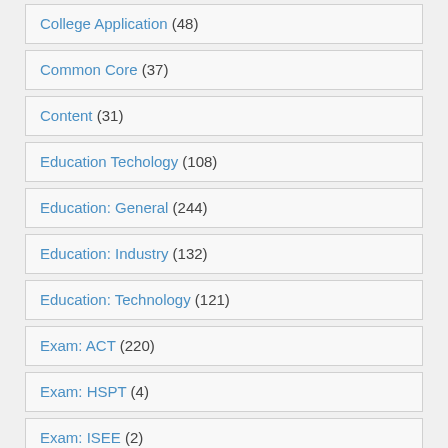College Application (48)
Common Core (37)
Content (31)
Education Techology (108)
Education: General (244)
Education: Industry (132)
Education: Technology (121)
Exam: ACT (220)
Exam: HSPT (4)
Exam: ISEE (2)
Exam: MCAS (27)